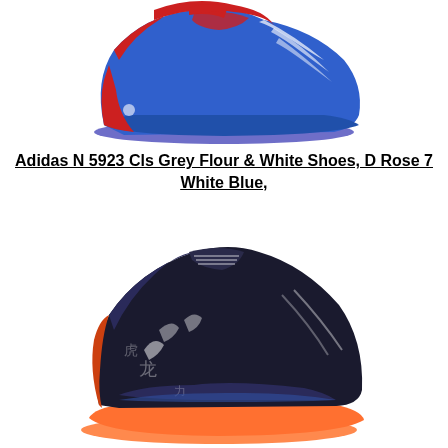[Figure (photo): Adidas basketball shoe in red and blue colorway, side profile view]
Adidas N 5923 Cls Grey Flour & White Shoes, D Rose 7 White Blue,
[Figure (photo): Adidas basketball shoe in black and orange colorway with graphic print, side profile view]